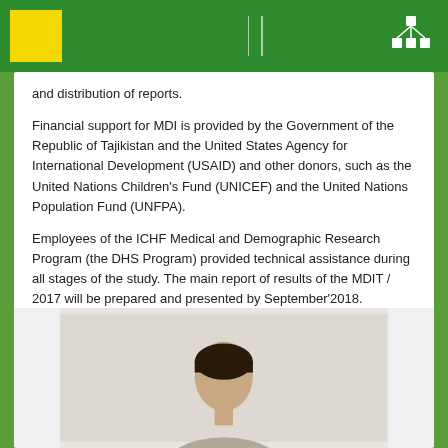and distribution of reports.
Financial support for MDI is provided by the Government of the Republic of Tajikistan and the United States Agency for International Development (USAID) and other donors, such as the United Nations Children's Fund (UNICEF) and the United Nations Population Fund (UNFPA).
Employees of the ICHF Medical and Demographic Research Program (the DHS Program) provided technical assistance during all stages of the study. The main report of results of the MDIT / 2017 will be prepared and presented by September'2018.
Share in
[Figure (photo): Partial photo of a person, visible from shoulders up, dark hair, light background, shown at bottom of page.]